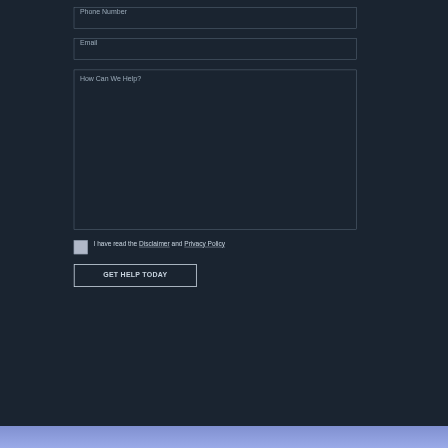Phone Number
Email
How Can We Help?
I have read the Disclaimer and Privacy Policy
GET HELP TODAY